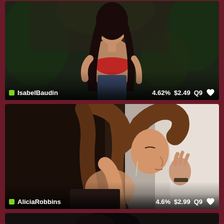[Figure (photo): Profile card for IsabelBaudin showing a young woman in a dark outdoor setting with plants, wearing red lingerie. Overlay shows name, percentage 4.62%, price $2.49, quality Q9, and heart icon.]
[Figure (photo): Profile card for AliciaRobbins showing a woman with brown wavy hair leaning against a white wall, bare back visible. Overlay shows name, percentage 4.6%, price $2.99, quality Q9, and heart icon.]
[Figure (photo): Partial profile card at bottom showing a dark-haired person, cut off at the bottom of the page.]